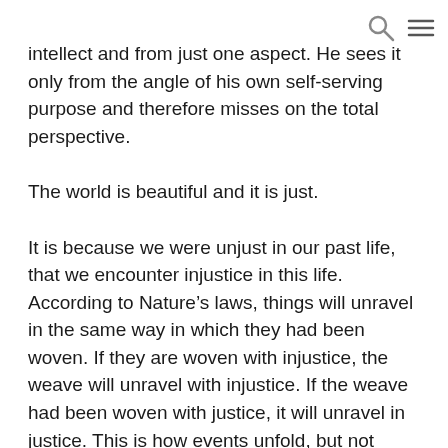[search icon] [menu icon]
intellect and from just one aspect. He sees it only from the angle of his own self-serving purpose and therefore misses on the total perspective.
The world is beautiful and it is just.
It is because we were unjust in our past life, that we encounter injustice in this life. According to Nature's laws, things will unravel in the same way in which they had been woven. If they are woven with injustice, the weave will unravel with injustice. If the weave had been woven with justice, it will unravel in justice. This is how events unfold, but not knowing the real truth, we tend to look for justice in them.